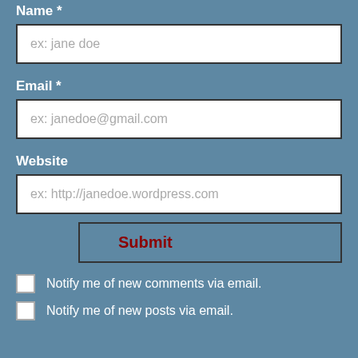Name *
ex: jane doe
Email *
ex: janedoe@gmail.com
Website
ex: http://janedoe.wordpress.com
Submit
Notify me of new comments via email.
Notify me of new posts via email.